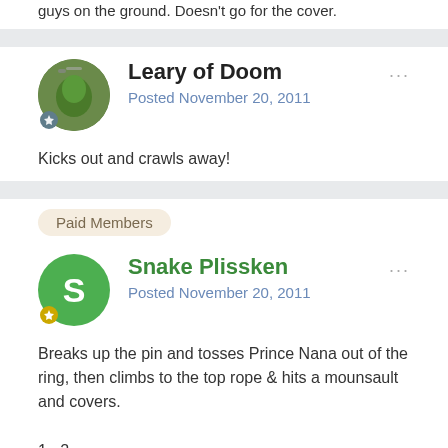guys on the ground. Doesn't go for the cover.
Leary of Doom
Posted November 20, 2011
Kicks out and crawls away!
Paid Members
Snake Plissken
Posted November 20, 2011
Breaks up the pin and tosses Prince Nana out of the ring, then climbs to the top rope & hits a mounsault and covers.
1.. 2....